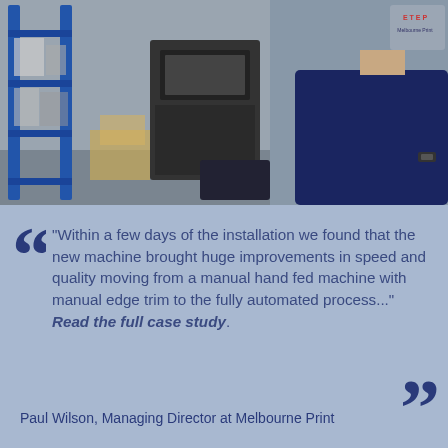[Figure (photo): A man in a navy blue polo shirt standing in a print/warehouse room with blue metal shelving on the left side, machinery visible in the background. The Melbourne Print logo is visible on the shirt.]
“Within a few days of the installation we found that the new machine brought huge improvements in speed and quality moving from a manual hand fed machine with manual edge trim to the fully automated process...” Read the full case study.
Paul Wilson, Managing Director at Melbourne Print